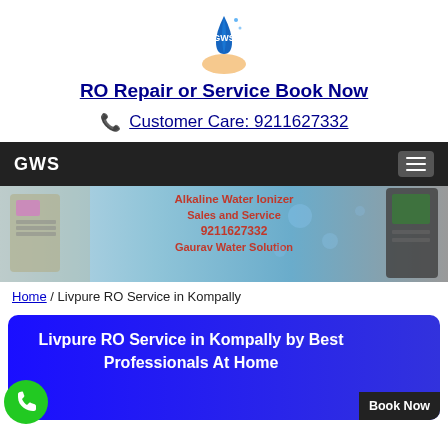[Figure (logo): GWS logo with water drop and hand]
RO Repair or Service Book Now
Customer Care: 9211627332
GWS navigation bar with hamburger menu
[Figure (photo): Alkaline Water Ionizer Sales and Service banner showing ionizer machine, 9211627332, Gaurav Water Solution]
Home / Livpure RO Service in Kompally
Livpure RO Service in Kompally by Best Professionals At Home